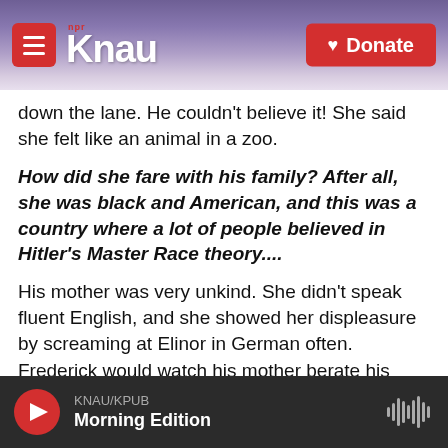KNAU NPR — Donate
down the lane. He couldn't believe it! She said she felt like an animal in a zoo.
How did she fare with his family? After all, she was black and American, and this was a country where a lot of people believed in Hitler's Master Race theory....
His mother was very unkind. She didn't speak fluent English, and she showed her displeasure by screaming at Elinor in German often. Frederick would watch his mother berate his wife, but he didn't do anything. He was not an aggressive man. He knew Elinor was very unhappy; they realized
KNAU/KPUB Morning Edition